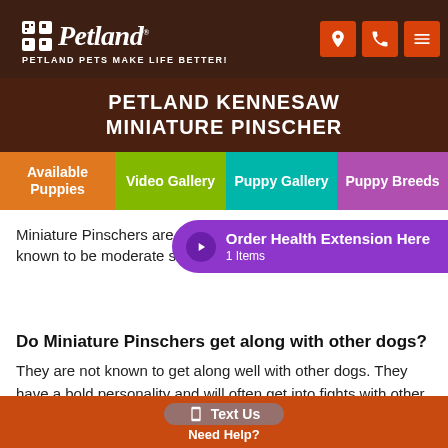Petland — PETLAND PETS MAKE LIFE BETTER!
PETLAND KENNESAW MINIATURE PINSCHER
Available Puppies | Video Gallery | Puppy Gallery | Puppy Breeds
Miniature Pinschers are not known to be moderate sh...
Order Health Extension Here 1 Items
Do Miniature Pinschers get along with other dogs?
They are not known to get along well with other dogs. They have a bold personality and will often get into fights with other dogs.
Are Miniature Pinschers good guard dogs?
Text Us Need Help?